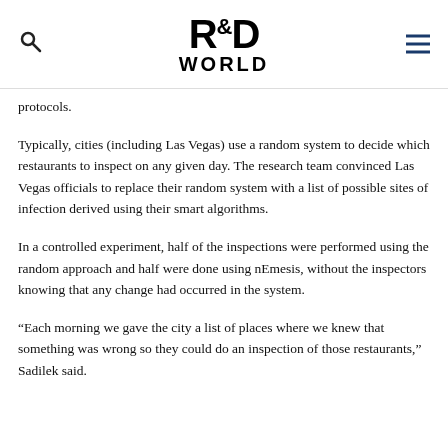R&D WORLD
protocols.
Typically, cities (including Las Vegas) use a random system to decide which restaurants to inspect on any given day. The research team convinced Las Vegas officials to replace their random system with a list of possible sites of infection derived using their smart algorithms.
In a controlled experiment, half of the inspections were performed using the random approach and half were done using nEmesis, without the inspectors knowing that any change had occurred in the system.
“Each morning we gave the city a list of places where we knew that something was wrong so they could do an inspection of those restaurants,” Sadilek said.